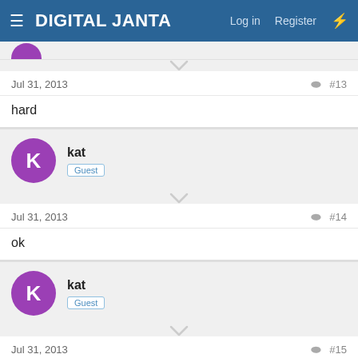DIGITAL JANTA — Log in  Register
Jul 31, 2013  #13
hard
kat
Guest
Jul 31, 2013  #14
ok
kat
Guest
Jul 31, 2013  #15
ok